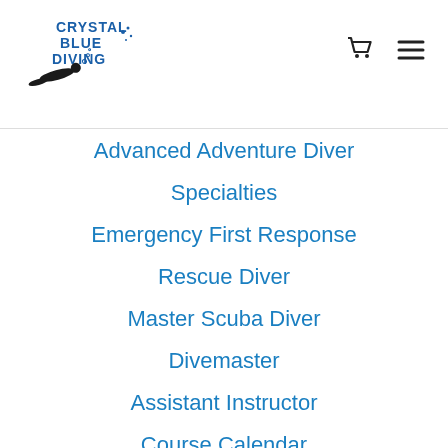Crystal Blue Diving
Advanced Adventure Diver
Specialties
Emergency First Response
Rescue Diver
Master Scuba Diver
Divemaster
Assistant Instructor
Course Calendar
Course Scheduling
PADI Forms
Snorkeling
Local
Dive Travel Services
Destination